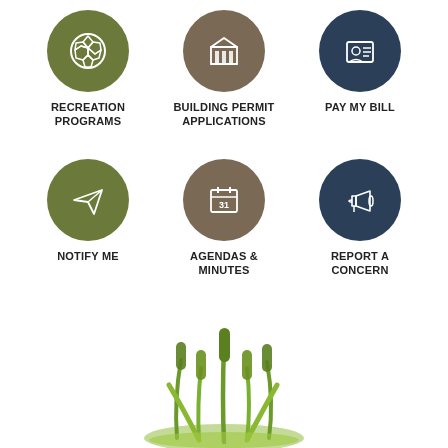[Figure (infographic): Six circular icon buttons arranged in two rows of three, representing government services: Recreation Programs (green, soccer ball icon), Building Permit Applications (brown, building icon), Pay My Bill (dark blue, ID card icon), Notify Me (green, paper plane icon), Agendas & Minutes (brown, calendar icon), Report a Concern (dark blue, megaphone icon)]
RECREATION PROGRAMS
BUILDING PERMIT APPLICATIONS
PAY MY BILL
NOTIFY ME
AGENDAS & MINUTES
REPORT A CONCERN
[Figure (logo): Green cattail plant illustration (logo) at the bottom center of the page]